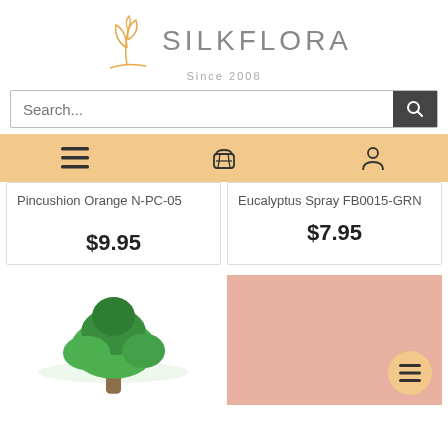[Figure (logo): SilkFlora logo with orange leaf/plant illustration, text SILKFLORA in gray, Since 2008 below]
Search...
[Figure (infographic): Navigation bar with hamburger menu icon, shopping basket icon, and user account icon on peach/orange background]
Pincushion Orange N-PC-05
$9.95
Eucalyptus Spray FB0015-GRN
$7.95
[Figure (photo): Green plant/tree product photo (partial, bottom of page)]
[Figure (photo): Pink/mauve background product card with orange circular menu button with hamburger icon]